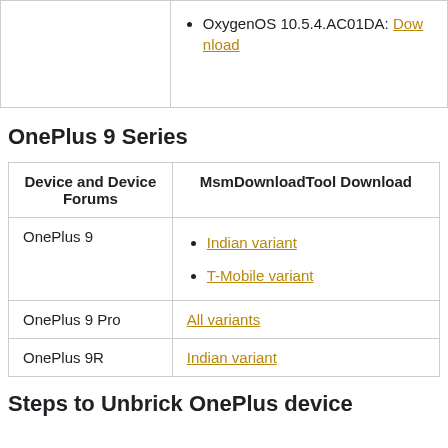|  |  |
| --- | --- |
|  | OxygenOS 10.5.4.AC01DA: Download |
OnePlus 9 Series
| Device and Device Forums | MsmDownloadTool Download |
| --- | --- |
| OnePlus 9 | Indian variant
T-Mobile variant |
| OnePlus 9 Pro | All variants |
| OnePlus 9R | Indian variant |
Steps to Unbrick OnePlus device